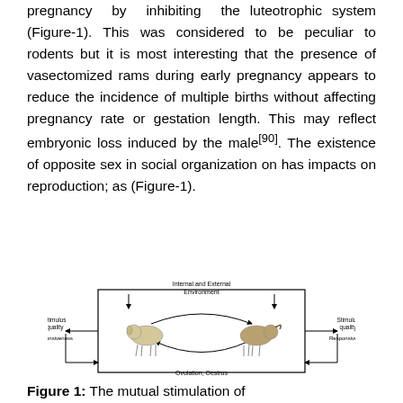pregnancy by inhibiting the luteotrophic system (Figure-1). This was considered to be peculiar to rodents but it is most interesting that the presence of vasectomized rams during early pregnancy appears to reduce the incidence of multiple births without affecting pregnancy rate or gestation length. This may reflect embryonic loss induced by the male[90]. The existence of opposite sex in social organization on has impacts on reproduction; as (Figure-1).
[Figure (illustration): Diagram showing mutual stimulation between a ewe and a ram, with arrows indicating a circular feedback loop. A rectangle at the top is labeled 'Internal and External Environment'. Left side labels: 'Stimulus quality' and 'Responsiveness'. Right side labels: 'Stimulus quality' and 'Responsiveness'. Bottom label: 'Ovulation, Oestrus'. Arrows show circular interaction between the two animals.]
Figure 1: The mutual stimulation of